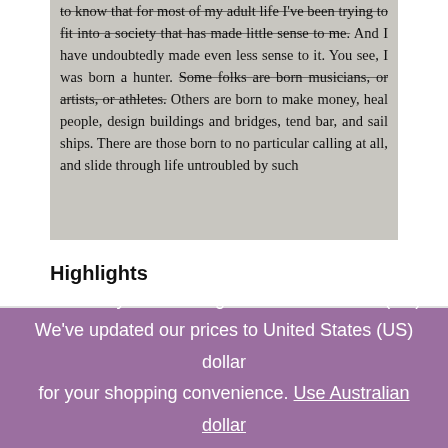[Figure (photo): A photograph of a book page showing text about being born a hunter. Some text has strikethrough markings. The text reads: 'to know that for most of my adult life I've been trying to fit into a society that has made little sense to me. And I have undoubtedly made even less sense to it. You see, I was born a hunter. Some folks are born musicians, or artists, or athletes. Others are born to make money, heal people, design buildings and bridges, tend bar, and sail ships. There are those born to no particular calling at all, and slide through life untroubled by such']
Highlights
We noticed you're visiting from United States (US). We've updated our prices to United States (US) dollar for your shopping convenience. Use Australian dollar instead. Dismiss